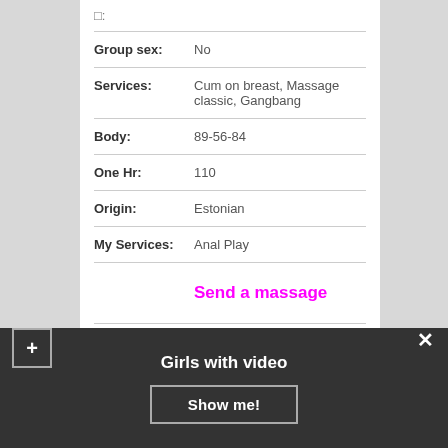| □: |  |
| Group sex: | No |
| Services: | Cum on breast, Massage classic, Gangbang |
| Body: | 89-56-84 |
| One Hr: | 110 |
| Origin: | Estonian |
| My Services: | Anal Play |
|  | Send a massage |
Comments:
Girls with video
Show me!